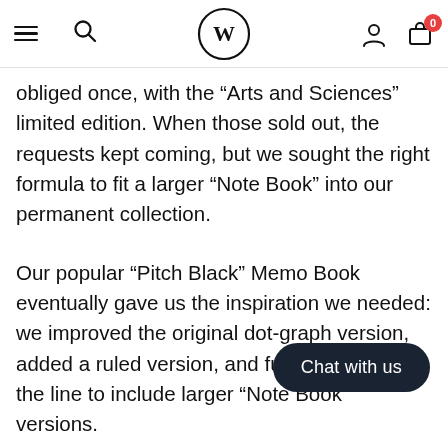Navigation bar with menu, search, W logo, user icon, and cart (0)
obliged once, with the “Arts and Sciences” limited edition. When those sold out, the requests kept coming, but we sought the right formula to fit a larger “Note Book” into our permanent collection.
Our popular “Pitch Black” Memo Book eventually gave us the inspiration we needed: we improved the original dot-graph version, added a ruled version, and further expanded the line to include larger “Note Book” versions.
Chat with us
These new Field Notes Pitch Black Notebooks are